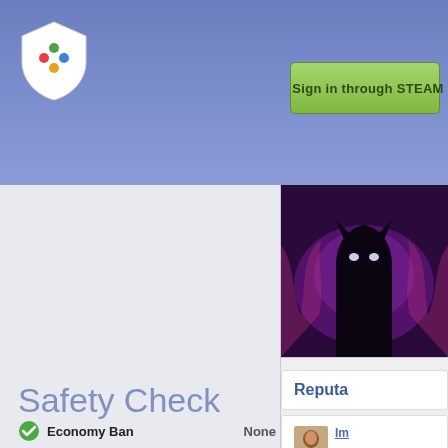Sign in through STEAM
[Figure (screenshot): Game or user profile image showing a dark silhouette character with glowing eyes against a purple background]
Reputa
[Figure (photo): Small reviewer avatar photo]
Im
+r
frie
tha
1 y
Safety Check
Economy Ban   None